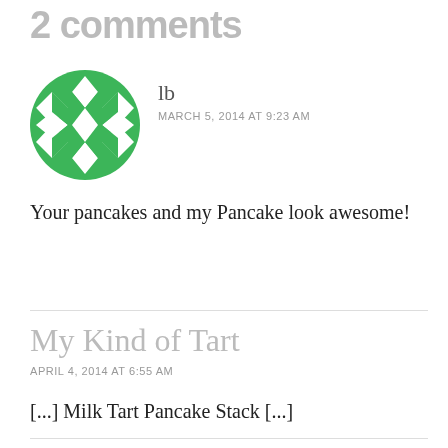2 comments
[Figure (illustration): Green geometric snowflake/quilt pattern avatar icon]
lb
MARCH 5, 2014 AT 9:23 AM
Your pancakes and my Pancake look awesome!
My Kind of Tart
APRIL 4, 2014 AT 6:55 AM
[...] Milk Tart Pancake Stack [...]